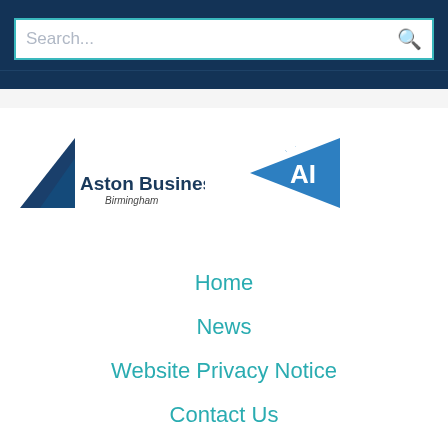[Figure (screenshot): Search bar with placeholder text 'Search...' and a magnifying glass icon on dark navy blue background]
[Figure (logo): Aston Business School Birmingham logo with dark blue triangle/arrow shape and text]
[Figure (logo): AI logo with blue triangle shape and white 'AI' text]
Home
News
Website Privacy Notice
Contact Us